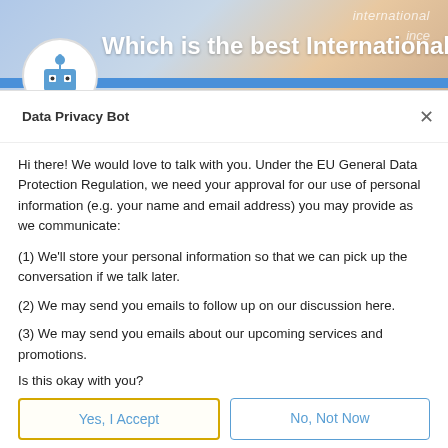[Figure (screenshot): Top banner showing a blurred background image with text 'Which is the best International' overlaid, and a robot avatar icon in a white circle]
Data Privacy Bot
Hi there! We would love to talk with you. Under the EU General Data Protection Regulation, we need your approval for our use of personal information (e.g. your name and email address) you may provide as we communicate:
(1) We'll store your personal information so that we can pick up the conversation if we talk later.
(2) We may send you emails to follow up on our discussion here.
(3) We may send you emails about our upcoming services and promotions.
Is this okay with you?
Yes, I Accept
No, Not Now
Chat ⚡ by Drift